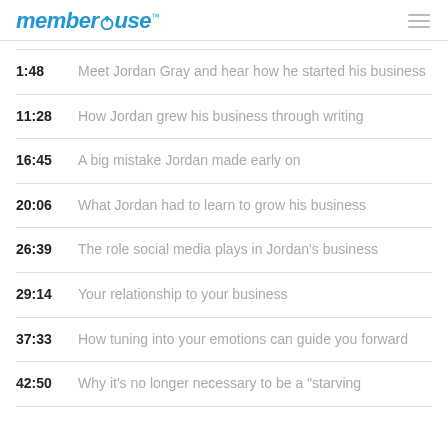MemberMouse
1:48 — Meet Jordan Gray and hear how he started his business
11:28 — How Jordan grew his business through writing
16:45 — A big mistake Jordan made early on
20:06 — What Jordan had to learn to grow his business
26:39 — The role social media plays in Jordan's business
29:14 — Your relationship to your business
37:33 — How tuning into your emotions can guide you forward
42:50 — Why it's no longer necessary to be a "starving artist"